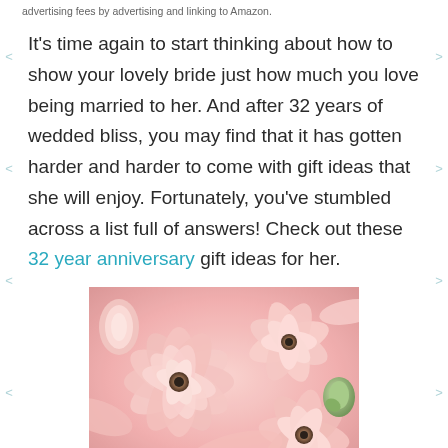advertising fees by advertising and linking to Amazon.
It's time again to start thinking about how to show your lovely bride just how much you love being married to her. And after 32 years of wedded bliss, you may find that it has gotten harder and harder to come with gift ideas that she will enjoy. Fortunately, you've stumbled across a list full of answers! Check out these 32 year anniversary gift ideas for her.
[Figure (photo): Close-up photograph of pink ranunculus flowers in full bloom, soft pastel pink petals layered densely, with a small green bud visible.]